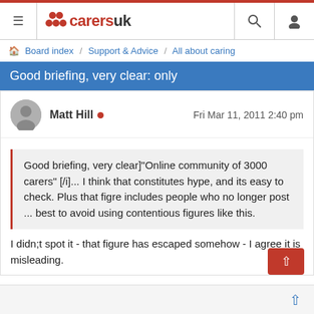CarersUK — Board index / Support & Advice / All about caring
Good briefing, very clear: only
Matt Hill • Fri Mar 11, 2011 2:40 pm
Good briefing, very clear]"Online community of 3000 carers" [/i]... I think that constitutes hype, and its easy to check. Plus that figre includes people who no longer post ... best to avoid using contentious figures like this.
I didn;t spot it - that figure has escaped somehow - I agree it is misleading.